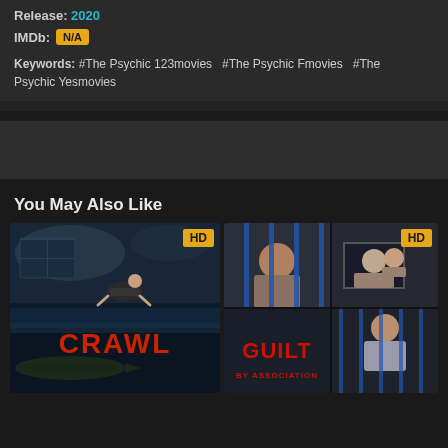Release: 2020
IMDb: N/A
Keywords: #The Psychic 123movies  #The Psychic Fmovies  #The Psychic Yesmovies
You May Also Like
[Figure (photo): Movie poster for CRAWL showing a woman crawling in a flooded basement with alligators, HD badge in top right]
[Figure (photo): Movie poster for GUILT BY ASSOCIATION showing a woman behind prison bars, HD badge in top right]